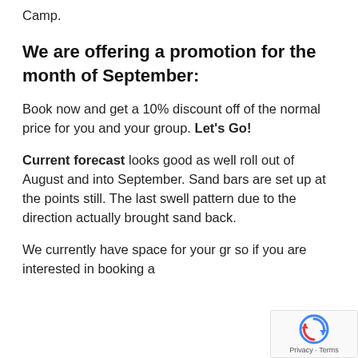Camp.
We are offering a promotion for the month of September:
Book now and get a 10% discount off of the normal price for you and your group. Let's Go!
Current forecast looks good as well roll out of August and into September. Sand bars are set up at the points still. The last swell pattern due to the direction actually brought sand back.
We currently have space for your gr… so if you are interested in booking a…